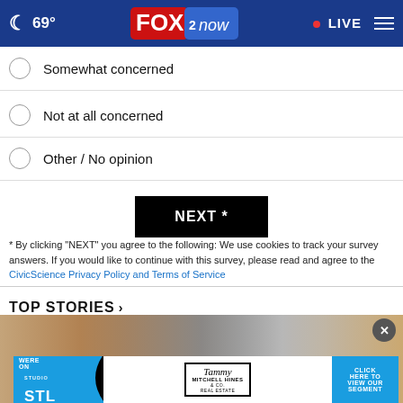69° FOX 2 now • LIVE
Somewhat concerned
Not at all concerned
Other / No opinion
NEXT *
* By clicking "NEXT" you agree to the following: We use cookies to track your survey answers. If you would like to continue with this survey, please read and agree to the CivicScience Privacy Policy and Terms of Service
TOP STORIES ›
[Figure (screenshot): Blurred story image with an advertisement banner overlay for Studio STL featuring Tammy Mitchell Hines & Co. Real Estate, with a close (X) button and a 'Click here to view our segment' call to action.]